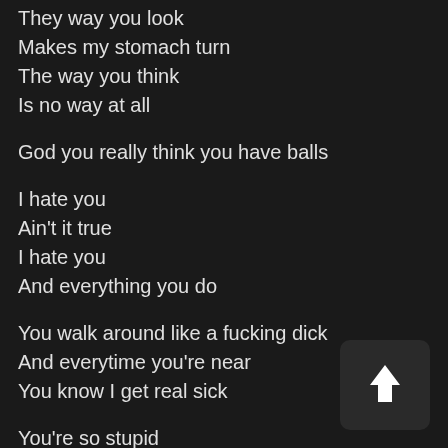They way you look
Makes my stomach turn
The way you think
Is no way at all
God you really think you have balls
I hate you
Ain't it true
I hate you
And everything you do
You walk around like a fucking dick
And everytime you're near
You know I get real sick
You're so stupid
[Figure (other): Upload/share button icon with upward arrow on dark rounded square background]